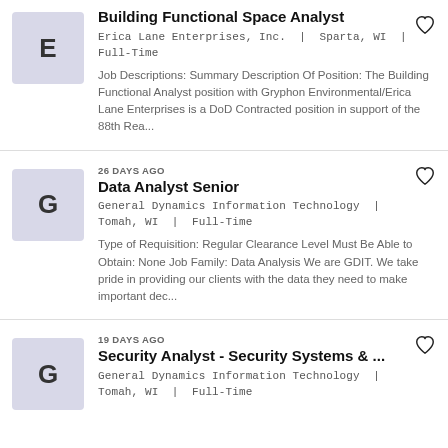Building Functional Space Analyst
Erica Lane Enterprises, Inc. | Sparta, WI | Full-Time
Job Descriptions: Summary Description Of Position: The Building Functional Analyst position with Gryphon Environmental/Erica Lane Enterprises is a DoD Contracted position in support of the 88th Rea...
26 DAYS AGO
Data Analyst Senior
General Dynamics Information Technology | Tomah, WI | Full-Time
Type of Requisition: Regular Clearance Level Must Be Able to Obtain: None Job Family: Data Analysis We are GDIT. We take pride in providing our clients with the data they need to make important dec...
19 DAYS AGO
Security Analyst - Security Systems & ...
General Dynamics Information Technology | Tomah, WI | Full-Time